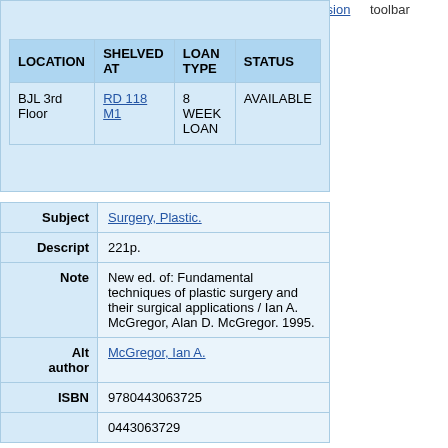Version
toolbar
| LOCATION | SHELVED AT | LOAN TYPE | STATUS |
| --- | --- | --- | --- |
| BJL 3rd Floor | RD 118 M1 | 8 WEEK LOAN | AVAILABLE |
| Subject | Descript | Note | Alt author | ISBN |
| --- | --- | --- | --- | --- |
| Subject | Surgery, Plastic. |
| Descript | 221p. |
| Note | New ed. of: Fundamental techniques of plastic surgery and their surgical applications / Ian A. McGregor, Alan D. McGregor. 1995. |
| Alt author | McGregor, Ian A. |
| ISBN | 9780443063725 |
|  | 0443063729 |